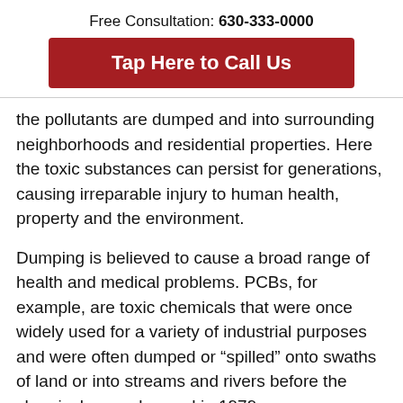Free Consultation: 630-333-0000
Tap Here to Call Us
the pollutants are dumped and into surrounding neighborhoods and residential properties. Here the toxic substances can persist for generations, causing irreparable injury to human health, property and the environment.
Dumping is believed to cause a broad range of health and medical problems. PCBs, for example, are toxic chemicals that were once widely used for a variety of industrial purposes and were often dumped or “spilled” onto swaths of land or into streams and rivers before the chemicals were banned in 1979.